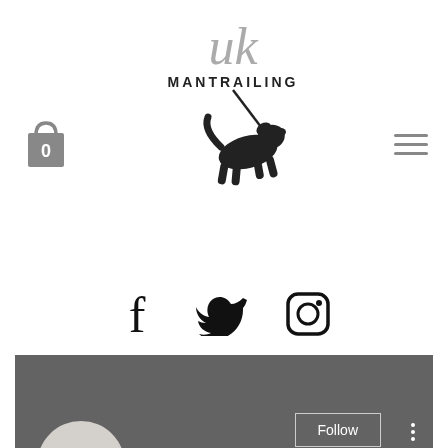[Figure (logo): Mantrailing UK logo with dog silhouette sniffing on a leash, text MANTRAILING UK above]
[Figure (illustration): Social media icons: Facebook, Twitter, Instagram]
[Figure (screenshot): User profile card with grey banner, avatar circle showing letter A, Follow button, three-dot menu, username Aristocrat superman slot mach..., 0 Followers, 0 Following]